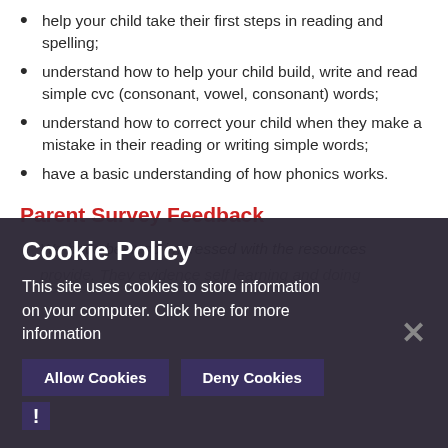help your child take their first steps in reading and spelling;
understand how to help your child build, write and read simple cvc (consonant, vowel, consonant) words;
understand how to correct your child when they make a mistake in their reading or writing simple words;
have a basic understanding of how phonics works.
Parent Survey Feedback
We have been so impressed with the resources provide. They evidence self learning and doing
[Figure (screenshot): Cookie Policy overlay banner with title 'Cookie Policy', body text 'This site uses cookies to store information on your computer. Click here for more information', Allow Cookies and Deny Cookies buttons, a close X button, and a warning exclamation mark icon in the bottom left.]